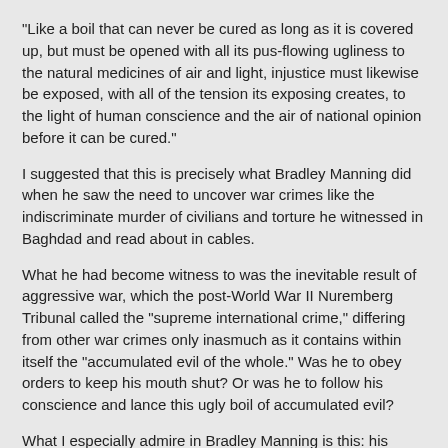“Like a boil that can never be cured as long as it is covered up, but must be opened with all its pus-flowing ugliness to the natural medicines of air and light, injustice must likewise be exposed, with all of the tension its exposing creates, to the light of human conscience and the air of national opinion before it can be cured.”
I suggested that this is precisely what Bradley Manning did when he saw the need to uncover war crimes like the indiscriminate murder of civilians and torture he witnessed in Baghdad and read about in cables.
What he had become witness to was the inevitable result of aggressive war, which the post-World War II Nuremberg Tribunal called the “supreme international crime,” differing from other war crimes only inasmuch as it contains within itself the “accumulated evil of the whole.” Was he to obey orders to keep his mouth shut? Or was he to follow his conscience and lance this ugly boil of accumulated evil?
What I especially admire in Bradley Manning is this: his ability, at the age of 22, to discern that there can be a hierarchy of — sometimes conflicting — values, and that from a moral standpoint some values